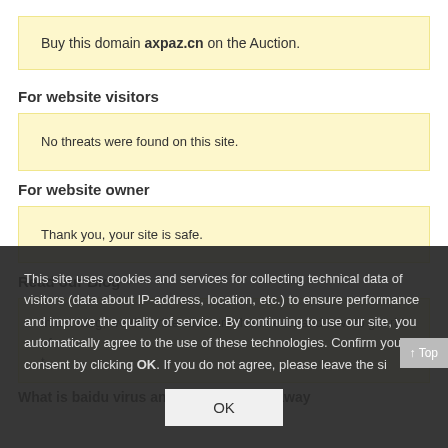Buy this domain axpaz.cn on the Auction.
For website visitors
No threats were found on this site.
For website owner
Thank you, your site is safe.
Read our Blog
In our blog, we describe what are the threats and how to get rid of them.
What is baidu virus and how to keep it away
This site uses cookies and services for collecting technical data of visitors (data about IP-address, location, etc.) to ensure performance and improve the quality of service. By continuing to use our site, you automatically agree to the use of these technologies. Confirm your consent by clicking OK. If you do not agree, please leave the site.